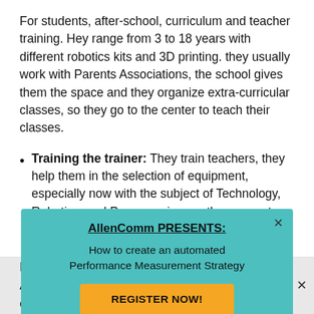For students, after-school, curriculum and teacher training. Hey range from 3 to 18 years with different robotics kits and 3D printing. they usually work with Parents Associations, the school gives them the space and they organize extra-curricular classes, so they go to the center to teach their classes.
Training the trainer: They train teachers, they help them in the selection of equipment, especially now with the subject of Technology, Robotics, and Programming, as they are not used to using this type of technology. They
AllenComm PRESENTS: How to create an automated Performance Measurement Strategy
REGISTER NOW!
Be A e